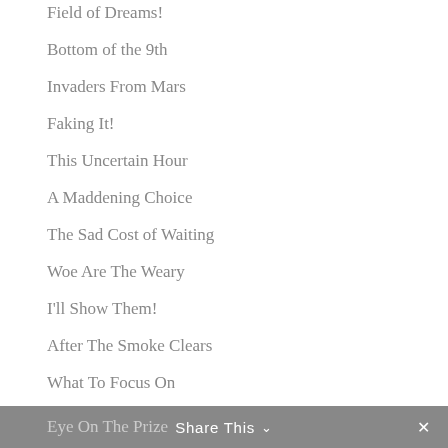Field of Dreams!
Bottom of the 9th
Invaders From Mars
Faking It!
This Uncertain Hour
A Maddening Choice
The Sad Cost of Waiting
Woe Are The Weary
I'll Show Them!
After The Smoke Clears
What To Focus On
Eye On The Prize
Share This  ∨  ✕